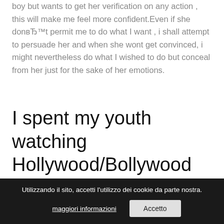boy but wants to get her verification on any action , this will make me feel more confident.Even if she donвЂ™t permit me to do what I want , i shall attempt to persuade her and when she wont get convinced, i might nevertheless do what I wished to do but conceal from her just for the sake of her emotions.
I spent my youth watching Hollywood/Bollywood movies where Hollywood films were supposed to be Action films and Bollywood films have been movies that are romantic.
Utilizzando il sito, accetti l'utilizzo dei cookie da parte nostra. maggiori informazioni  Accetto